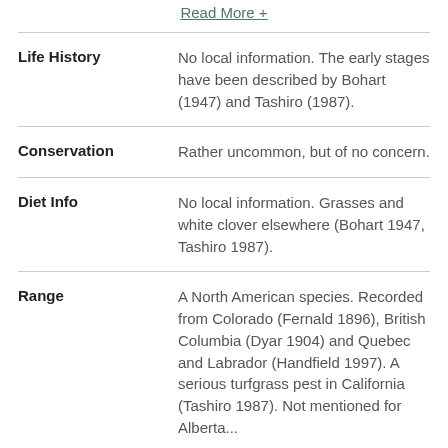Read More +
Life History
No local information. The early stages have been described by Bohart (1947) and Tashiro (1987).
Conservation
Rather uncommon, but of no concern.
Diet Info
No local information. Grasses and white clover elsewhere (Bohart 1947, Tashiro 1987).
Range
A North American species. Recorded from Colorado (Fernald 1896), British Columbia (Dyar 1904) and Quebec and Labrador (Handfield 1997). A serious turfgrass pest in California (Tashiro 1987). Not mentioned for Alberta...
Read More +